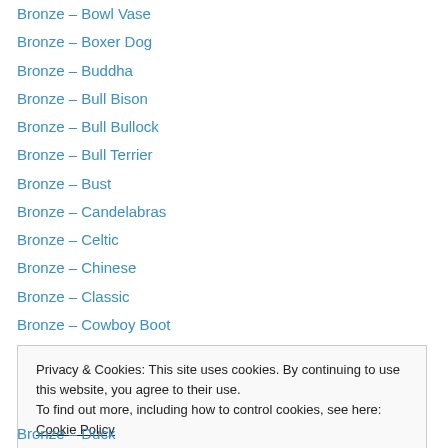Bronze – Bowl Vase
Bronze – Boxer Dog
Bronze – Buddha
Bronze – Bull Bison
Bronze – Bull Bullock
Bronze – Bull Terrier
Bronze – Bust
Bronze – Candelabras
Bronze – Celtic
Bronze – Chinese
Bronze – Classic
Bronze – Cowboy Boot
Bronze – Crocodile
Privacy & Cookies: This site uses cookies. By continuing to use this website, you agree to their use. To find out more, including how to control cookies, see here: Cookie Policy
Bronze – Duck